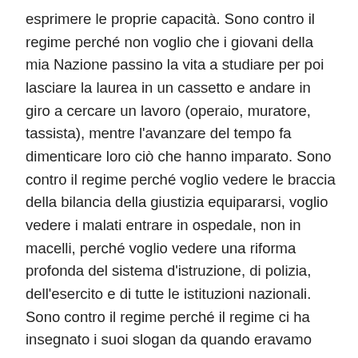esprimere le proprie capacità. Sono contro il regime perché non voglio che i giovani della mia Nazione passino la vita a studiare per poi lasciare la laurea in un cassetto e andare in giro a cercare un lavoro (operaio, muratore, tassista), mentre l'avanzare del tempo fa dimenticare loro ciò che hanno imparato. Sono contro il regime perché voglio vedere le braccia della bilancia della giustizia equipararsi, voglio vedere i malati entrare in ospedale, non in macelli, perché voglio vedere una riforma profonda del sistema d'istruzione, di polizia, dell'esercito e di tutte le istituzioni nazionali. Sono contro il regime perché il regime ci ha insegnato i suoi slogan da quando eravamo piccoli e sono rimasti solo slogan. Sono contro il regime perché non so chi rappresenta il popolo; ho scoperto di recente che uno degli uomini al potere è Mansour e l'ho scoperto solo perché i suoi accompagnatori hanno deturpato il viso